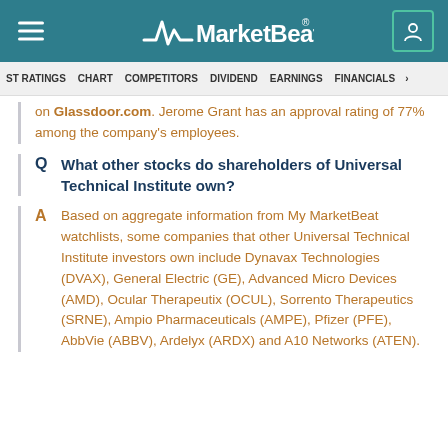MarketBeat
ST RATINGS  CHART  COMPETITORS  DIVIDEND  EARNINGS  FINANCIALS
on Glassdoor.com. Jerome Grant has an approval rating of 77% among the company's employees.
Q  What other stocks do shareholders of Universal Technical Institute own?
A  Based on aggregate information from My MarketBeat watchlists, some companies that other Universal Technical Institute investors own include Dynavax Technologies (DVAX), General Electric (GE), Advanced Micro Devices (AMD), Ocular Therapeutix (OCUL), Sorrento Therapeutics (SRNE), Ampio Pharmaceuticals (AMPE), Pfizer (PFE), AbbVie (ABBV), Ardelyx (ARDX) and A10 Networks (ATEN).